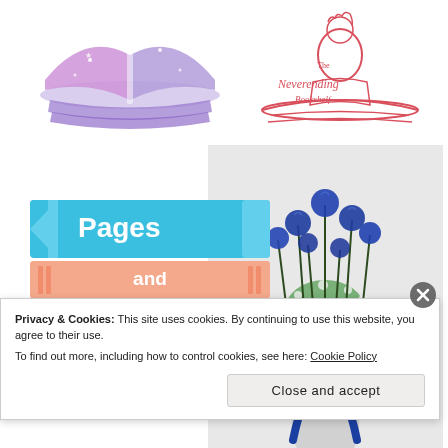[Figure (logo): Fantasy/magic open book logo with purple sparkles on the left]
[Figure (logo): The Neverending Bookshelf logo — red line art of a figure reading, with decorative text]
[Figure (logo): Pages and Plots banner logo with blue and orange/peach color blocks]
[Figure (photo): Photo of blue roses in a vase with a blue satin ribbon bow]
Privacy & Cookies: This site uses cookies. By continuing to use this website, you agree to their use.
To find out more, including how to control cookies, see here: Cookie Policy
Close and accept